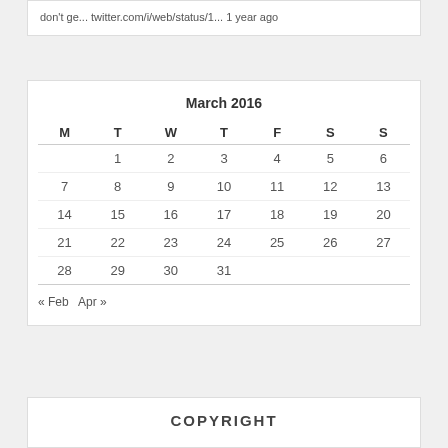don't ge... twitter.com/i/web/status/1... 1 year ago
| M | T | W | T | F | S | S |
| --- | --- | --- | --- | --- | --- | --- |
|  | 1 | 2 | 3 | 4 | 5 | 6 |
| 7 | 8 | 9 | 10 | 11 | 12 | 13 |
| 14 | 15 | 16 | 17 | 18 | 19 | 20 |
| 21 | 22 | 23 | 24 | 25 | 26 | 27 |
| 28 | 29 | 30 | 31 |  |  |  |
« Feb   Apr »
COPYRIGHT